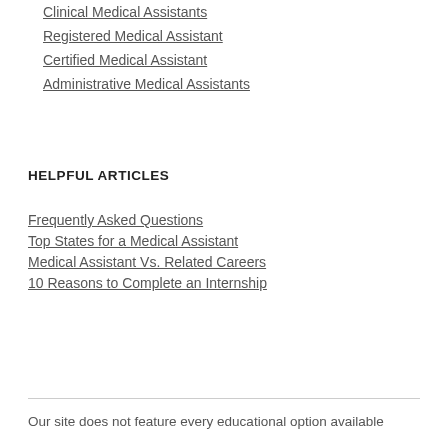Clinical Medical Assistants
Registered Medical Assistant
Certified Medical Assistant
Administrative Medical Assistants
HELPFUL ARTICLES
Frequently Asked Questions
Top States for a Medical Assistant
Medical Assistant Vs. Related Careers
10 Reasons to Complete an Internship
Our site does not feature every educational option available